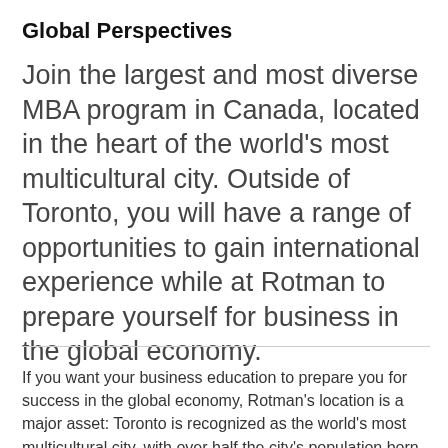Global Perspectives
Join the largest and most diverse MBA program in Canada, located in the heart of the world's most multicultural city. Outside of Toronto, you will have a range of opportunities to gain international experience while at Rotman to prepare yourself for business in the global economy.
If you want your business education to prepare you for success in the global economy, Rotman's location is a major asset: Toronto is recognized as the world's most multicultural city, with over half the city's population born outside of the country.